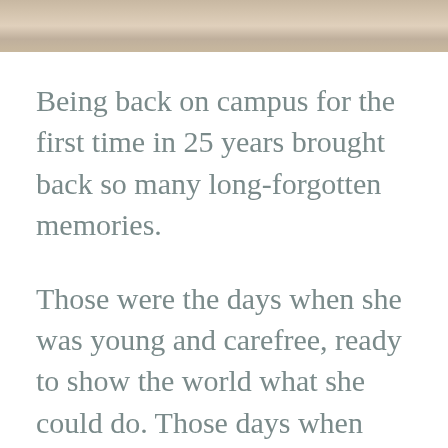[Figure (photo): Partial view of a photo strip at the top of the page, showing an indoor scene with warm beige/tan tones]
Being back on campus for the first time in 25 years brought back so many long-forgotten memories.
Those were the days when she was young and carefree, ready to show the world what she could do. Those days when they would sit on the grass when the